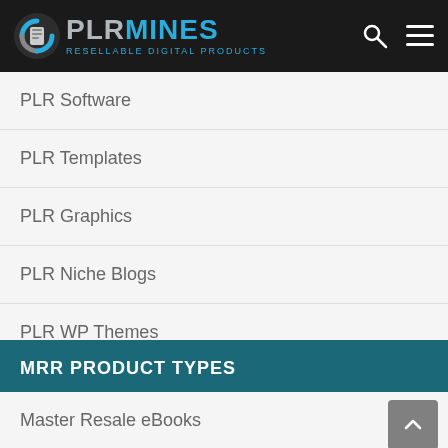[Figure (logo): PLRMines logo with circular icon, text PLRMINES and tagline RESELLABLE DIGITAL PRODUCTS]
PLR Software
PLR Templates
PLR Graphics
PLR Niche Blogs
PLR WP Themes
PLR WP Plugins
MRR PRODUCT TYPES
Master Resale eBooks
Master Resale Videos